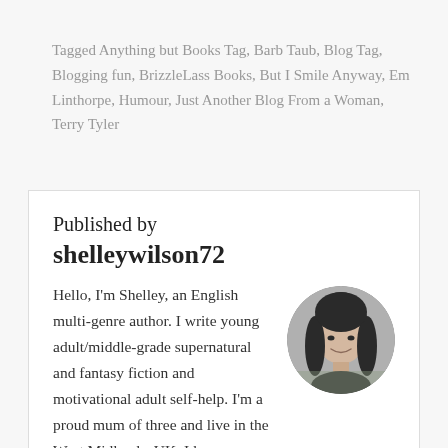Tagged Anything but Books Tag, Barb Taub, Blog Tag, Blogging fun, BrizzleLass Books, But I Smile Anyway, Em Linthorpe, Humour, Just Another Blog From a Woman, Terry Tyler
Published by shelleywilson72
Hello, I'm Shelley, an English multi-genre author. I write young adult/middle-grade supernatural and fantasy fiction and motivational adult self-help. I'm a proud mum of three and live in the West Midlands, UK. I love travelling in my VW camper, reading
[Figure (photo): Black and white circular profile photo of a woman with dark hair, smiling]